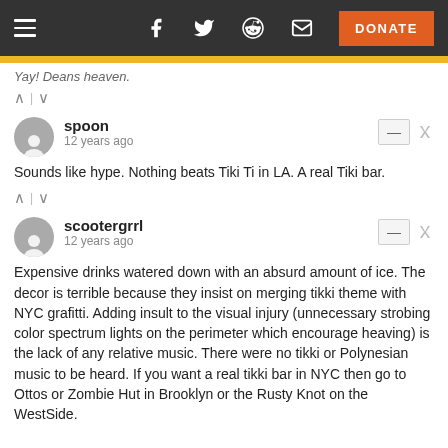Navigation bar with hamburger menu, social icons (Facebook, Twitter, Reddit, Email), and DONATE button
Yay! Deans heaven.
spoon · 12 years ago
Sounds like hype. Nothing beats Tiki Ti in LA. A real Tiki bar.
scootergrrl · 12 years ago
Expensive drinks watered down with an absurd amount of ice. The decor is terrible because they insist on merging tikki theme with NYC grafitti. Adding insult to the visual injury (unnecessary strobing color spectrum lights on the perimeter which encourage heaving) is the lack of any relative music. There were no tikki or Polynesian music to be heard. If you want a real tikki bar in NYC then go to Ottos or Zombie Hut in Brooklyn or the Rusty Knot on the WestSide.